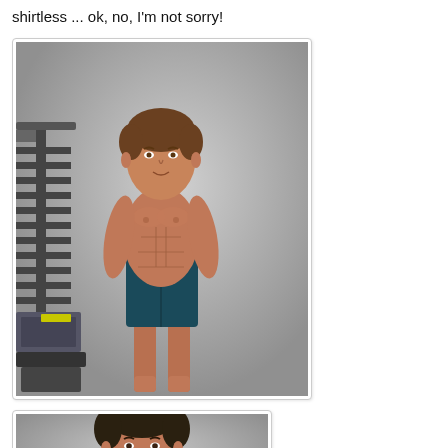shirtless ... ok, no, I'm not sorry!
[Figure (photo): A shirtless athletic man with a muscular physique standing in athletic dark blue shorts, posing in a studio setting with gym equipment visible on the left side. Light grey background.]
[Figure (photo): A man in a professional headshot/portrait photo, shown from the shoulders up, with dark hair, against a light grey background. Image is partially cropped at the bottom of the page.]